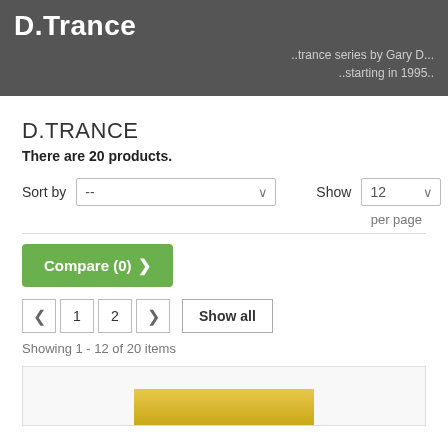D.Trance
..trance series by Gary D...
..starting in 1995..
D.TRANCE
There are 20 products.
Sort by  --  Show  12  per page
Compare (0)
1  2  Show all
Showing 1 - 12 of 20 items
[Figure (photo): Partial view of a product image showing a yellow/gold colored object on a light background]